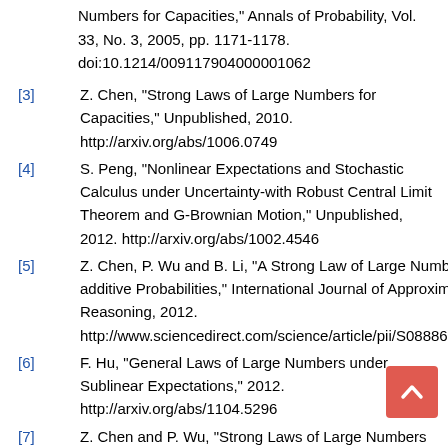Numbers for Capacities," Annals of Probability, Vol. 33, No. 3, 2005, pp. 1171-1178. doi:10.1214/009117904000001062
[3] Z. Chen, "Strong Laws of Large Numbers for Capacities," Unpublished, 2010. http://arxiv.org/abs/1006.0749
[4] S. Peng, "Nonlinear Expectations and Stochastic Calculus under Uncertainty-with Robust Central Limit Theorem and G-Brownian Motion," Unpublished, 2012. http://arxiv.org/abs/1002.4546
[5] Z. Chen, P. Wu and B. Li, "A Strong Law of Large Numbers for Non-additive Probabilities," International Journal of Approximate Reasoning, 2012. http://www.sciencedirect.com/science/article/pii/S0888613X12000783
[6] F. Hu, "General Laws of Large Numbers under Sublinear Expectations," 2012. http://arxiv.org/abs/1104.5296
[7] Z. Chen and P. Wu, "Strong Laws of Large Numbers for